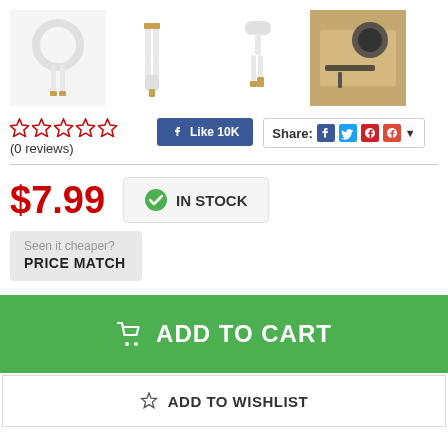[Figure (photo): Four product thumbnail images of white 3.5mm audio cables/splitters shown from different angles, plus a lifestyle photo]
(0 reviews)
[Figure (screenshot): Facebook Like button showing 10K likes]
[Figure (screenshot): Share button with social media icons (Facebook, Twitter, Pinterest, Google+)]
$7.99
IN STOCK
Seen it cheaper?
PRICE MATCH
ADD TO CART
ADD TO WISHLIST